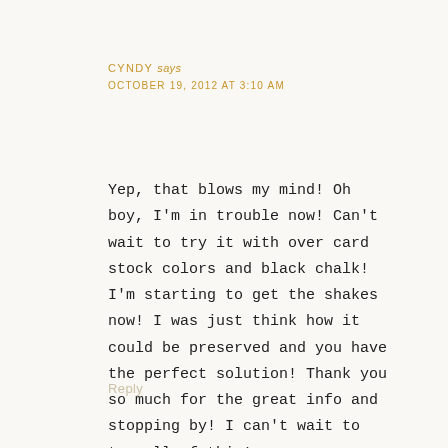CYNDY says
OCTOBER 19, 2012 AT 3:10 AM
Yep, that blows my mind! Oh boy, I'm in trouble now! Can't wait to try it with over card stock colors and black chalk! I'm starting to get the shakes now! I was just think how it could be preserved and you have the perfect solution! Thank you so much for the great info and stopping by! I can't wait to try all of this!
Reply